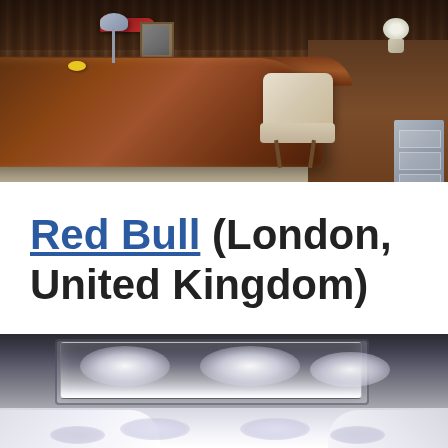[Figure (photo): Vintage executive office with a large curved wooden desk in dark wood, a white mid-century modern chair, wall-mounted credenza with framed photos and flowers, and soft overhead lighting.]
Red Bull (London, United Kingdom)
[Figure (photo): Modern aircraft or building interior ceiling with recessed LED lighting panels creating bright glowing spots against a dark grey ceiling.]